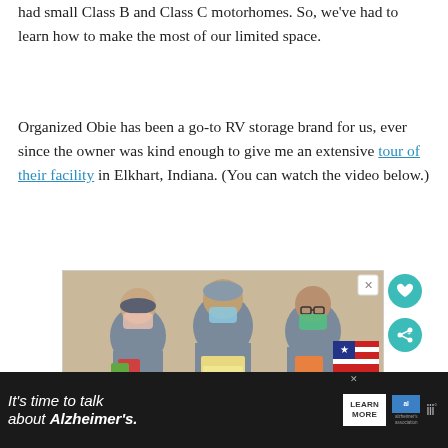had small Class B and Class C motorhomes. So, we've had to learn how to make the most of our limited space.
Organized Obie has been a go-to RV storage brand for us, ever since the owner was kind enough to give me an extensive tour of their facility in Elkhart, Indiana. (You can watch the video below.)
[Figure (photo): Three healthcare workers wearing masks and scrubs holding cards and gifts, with an American flag visible, shown in an advertisement overlay with a close button, heart button, share button, and a 'What's Next' preview box showing 'The Truth About RV...']
[Figure (infographic): Bottom advertisement bar with dark background reading 'It's time to talk about Alzheimer's.' with a 'Learn More' button and Alzheimer's Association logo]